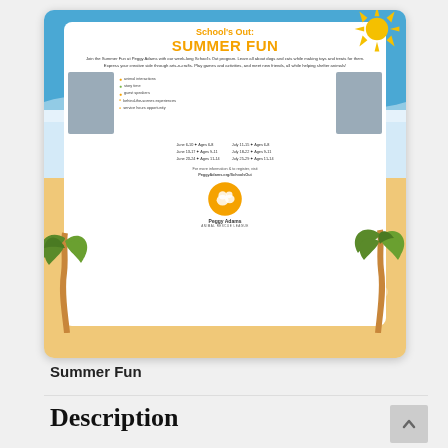[Figure (illustration): Peggy Adams Animal Rescue League 'School's Out: Summer Fun' promotional flyer featuring photos of children interacting with animals, palm tree decorations, sun graphic, activity lists, session dates, and logo on a blue and sandy beach theme background.]
Summer Fun
Description